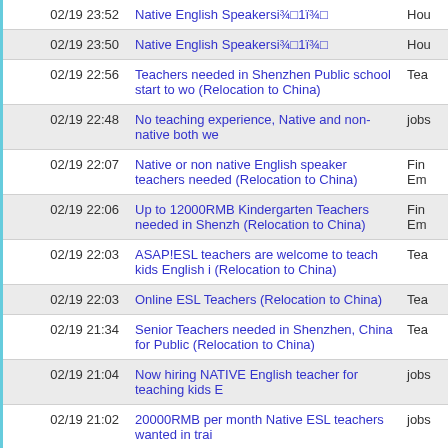| Date | Title | Category |
| --- | --- | --- |
| 02/19 23:52 | Native English Speakersi¾□1ï¾□ | Hou |
| 02/19 23:50 | Native English Speakersi¾□1ï¾□ | Hou |
| 02/19 22:56 | Teachers needed in Shenzhen Public school start to wo (Relocation to China) | Tea |
| 02/19 22:48 | No teaching experience, Native and non-native both we | jobs |
| 02/19 22:07 | Native or non native English speaker teachers needed (Relocation to China) | Fin Em |
| 02/19 22:06 | Up to 12000RMB Kindergarten Teachers needed in Shenzh (Relocation to China) | Fin Em |
| 02/19 22:03 | ASAP!ESL teachers are welcome to teach kids English i (Relocation to China) | Tea |
| 02/19 22:03 | Online ESL Teachers (Relocation to China) | Tea |
| 02/19 21:34 | Senior Teachers needed in Shenzhen, China for Public (Relocation to China) | Tea |
| 02/19 21:04 | Now hiring NATIVE English teacher for teaching kids E | jobs |
| 02/19 21:02 | 20000RMB per month Native ESL teachers wanted in trai | jobs |
| 02/19 17:45 | Beijing kindergarten is looking for a Piano teacher (Relocation to China) | Fin Em |
| 02/19 16:52 | Beijing kindergarten is looking for a Piano teacher (Relocation to China) | Fin Em |